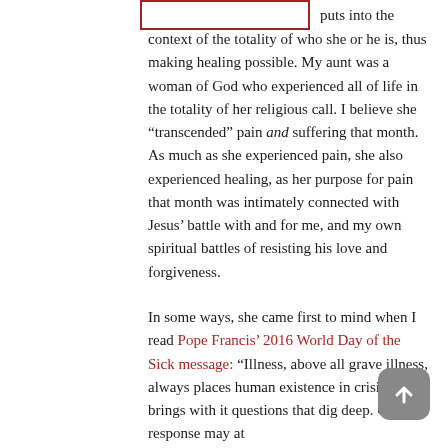[Figure (other): Red-bordered rectangle image placeholder at top of page]
puts into the context of the totality of who she or he is, thus making healing possible. My aunt was a woman of God who experienced all of life in the totality of her religious call. I believe she “transcended” pain and suffering that month. As much as she experienced pain, she also experienced healing, as her purpose for pain that month was intimately connected with Jesus’ battle with and for me, and my own spiritual battles of resisting his love and forgiveness.
In some ways, she came first to mind when I read Pope Francis’ 2016 World Day of the Sick message: “Illness, above all grave illness, always places human existence in crisis and brings with it questions that dig deep. Our first response may at